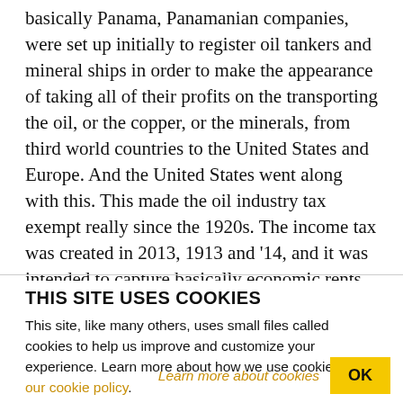basically Panama, Panamanian companies, were set up initially to register oil tankers and mineral ships in order to make the appearance of taking all of their profits on the transporting the oil, or the copper, or the minerals, from third world countries to the United States and Europe. And the United States went along with this. This made the oil industry tax exempt really since the 1920s. The income tax was created in 2013, 1913 and '14, and it was intended to capture basically economic rents. But the big rent extractors, oil and gas and minerals, got away with
THIS SITE USES COOKIES
This site, like many others, uses small files called cookies to help us improve and customize your experience. Learn more about how we use cookies in our cookie policy.
Learn more about cookies
OK